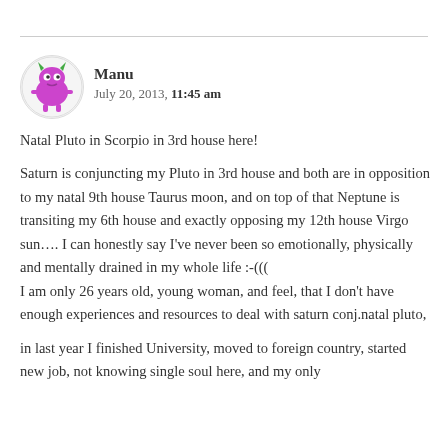Manu
July 20, 2013, 11:45 am
Natal Pluto in Scorpio in 3rd house here!
Saturn is conjuncting my Pluto in 3rd house and both are in opposition to my natal 9th house Taurus moon, and on top of that Neptune is transiting my 6th house and exactly opposing my 12th house Virgo sun.... I can honestly say I've never been so emotionally, physically and mentally drained in my whole life :-((( I am only 26 years old, young woman, and feel, that I don't have enough experiences and resources to deal with saturn conj.natal pluto,
in last year I finished University, moved to foreign country, started new job, not knowing single soul here, and my only